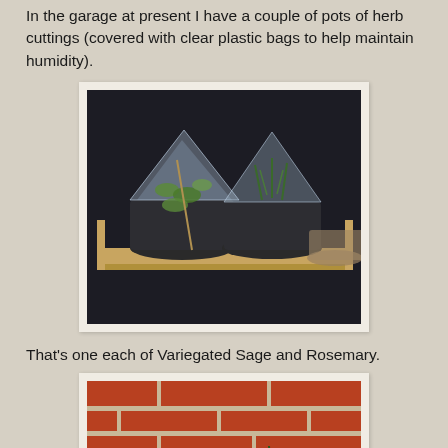In the garage at present I have a couple of pots of herb cuttings (covered with clear plastic bags to help maintain humidity).
[Figure (photo): Two plant pots covered with clear plastic bags sitting in a wooden crate, containing herb cuttings (Variegated Sage and Rosemary).]
That's one each of Variegated Sage and Rosemary.
[Figure (photo): Two small herb plants in black pots against a red brick wall background, showing Variegated Sage and Rosemary cuttings.]